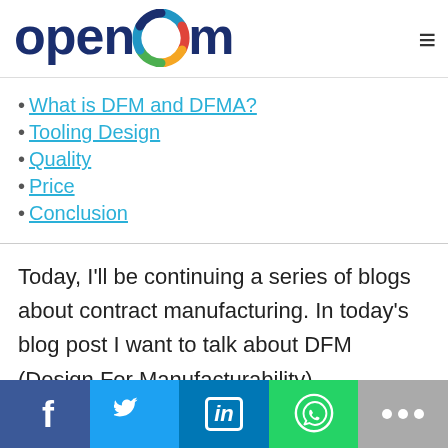[Figure (logo): OpenBOM logo with colorful circular icon replacing the second 'o', dark blue text]
What is DFM and DFMA?
Tooling Design
Quality
Price
Conclusion
Today, I'll be continuing a series of blogs about contract manufacturing. In today's blog post I want to talk about DFM (Design For Manufacturability)
[Figure (infographic): Social sharing bar with Facebook, Twitter, LinkedIn, WhatsApp, and more buttons]